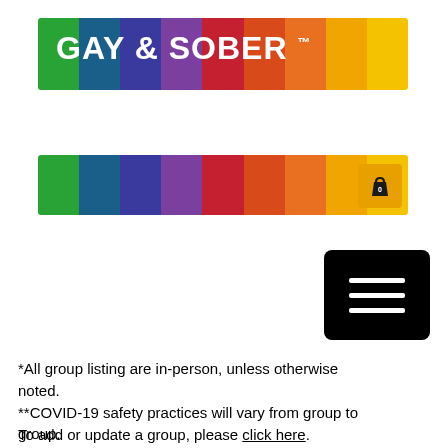[Figure (logo): Gay & Sober rainbow banner logo with white bold text reading 'GAY & SOBER ™' on a rainbow striped background]
[Figure (logo): Rainbow navigation bar with shopping cart icon showing 0 items]
[Figure (other): Black hamburger menu button with three white horizontal lines]
*All group listing are in-person, unless otherwise noted.
**COVID-19 safety practices will vary from group to group.
To add or update a group, please click here.